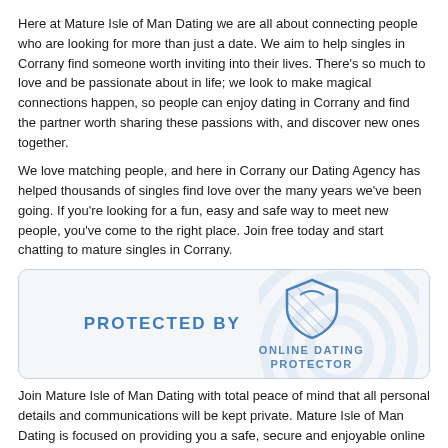Here at Mature Isle of Man Dating we are all about connecting people who are looking for more than just a date. We aim to help singles in Corrany find someone worth inviting into their lives. There's so much to love and be passionate about in life; we look to make magical connections happen, so people can enjoy dating in Corrany and find the partner worth sharing these passions with, and discover new ones together.
We love matching people, and here in Corrany our Dating Agency has helped thousands of singles find love over the many years we've been going. If you're looking for a fun, easy and safe way to meet new people, you've come to the right place. Join free today and start chatting to mature singles in Corrany.
[Figure (logo): Protected By badge with Online Dating Protector shield logo on a light grey rounded rectangle background]
Join Mature Isle of Man Dating with total peace of mind that all personal details and communications will be kept private. Mature Isle of Man Dating is focused on providing you a safe, secure and enjoyable online dating experience.
Putting Your Safety First